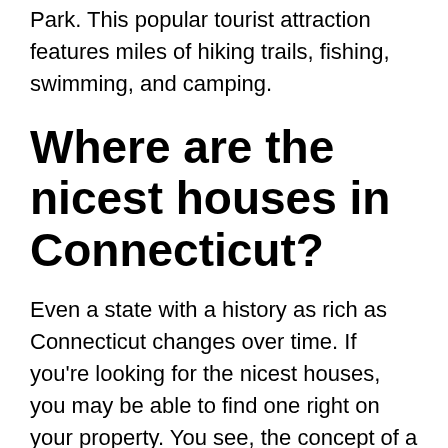Park. This popular tourist attraction features miles of hiking trails, fishing, swimming, and camping.
Where are the nicest houses in Connecticut?
Even a state with a history as rich as Connecticut changes over time. If you're looking for the nicest houses, you may be able to find one right on your property. You see, the concept of a nice house is subjective, and as a